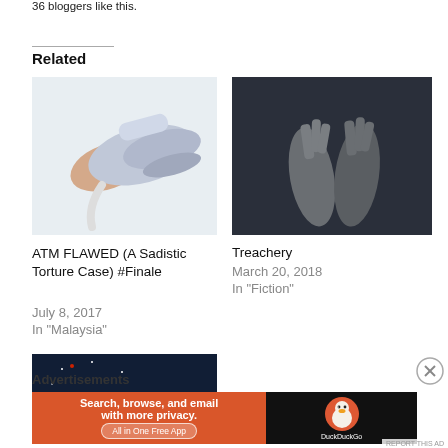36 bloggers like this.
Related
[Figure (photo): Hand holding a clothes iron, white background]
ATM FLAWED (A Sadistic Torture Case) #Finale
July 8, 2017
In "Malaysia"
[Figure (photo): Dark photo of two gnarled zombie-like hands raised against a dark background]
Treachery
March 20, 2018
In "Fiction"
[Figure (photo): Night sky photo with glowing horizon and tree silhouette]
Advertisements
[Figure (screenshot): DuckDuckGo advertisement banner: Search, browse, and email with more privacy. All in One Free App]